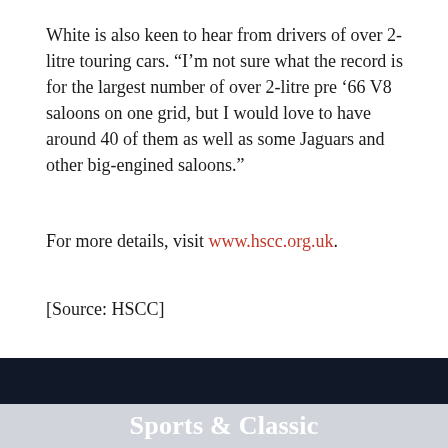White is also keen to hear from drivers of over 2-litre touring cars. “I’m not sure what the record is for the largest number of over 2-litre pre ’66 V8 saloons on one grid, but I would love to have around 40 of them as well as some Jaguars and other big-engined saloons.”
For more details, visit www.hscc.org.uk.
[Source: HSCC]
TAGS  #VINTAGE CAR RACING
Sports & Classic